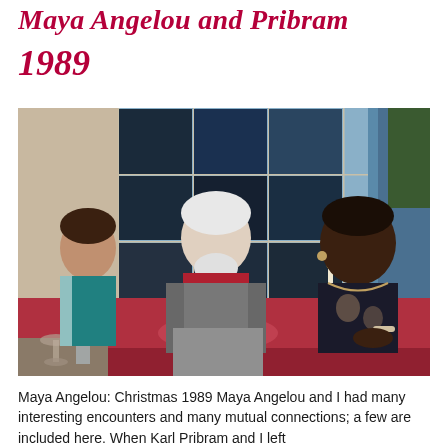Maya Angelou and Pribram
1989
[Figure (photo): Three people sitting on a red couch. On the left is a young girl in a teal jacket. In the center is an elderly man with white hair and beard wearing a red turtleneck and grey suit jacket. On the right is Maya Angelou, a Black woman wearing a dark patterned blouse with a necklace and bracelet. Behind them is a large window with blue curtains. There is a wine glass on a table in the foreground.]
Maya Angelou: Christmas 1989 Maya Angelou and I had many interesting encounters and many mutual connections; a few are included here. When Karl Pribram and I left